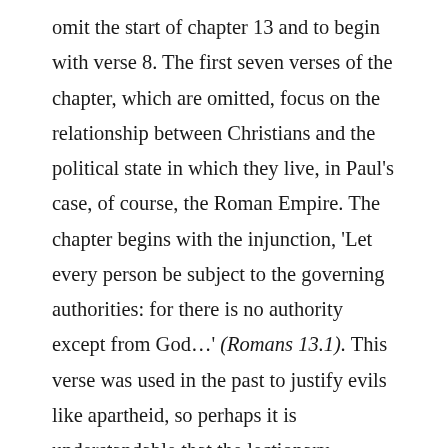omit the start of chapter 13 and to begin with verse 8. The first seven verses of the chapter, which are omitted, focus on the relationship between Christians and the political state in which they live, in Paul's case, of course, the Roman Empire. The chapter begins with the injunction, 'Let every person be subject to the governing authorities: for there is no authority except from God…' (Romans 13.1). This verse was used in the past to justify evils like apartheid, so perhaps it is understandable that the lectionary compilers chose to omit it. Personally however I feel that was the wrong decision and that this passage needs to be read. There are various competing perceptions expressed in the New Testament about the relationship between church and state. In my view, we need to wrestle with them all,